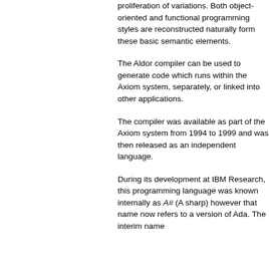proliferation of variations. Both object-oriented and functional programming styles are reconstructed naturally form these basic semantic elements.
The Aldor compiler can be used to generate code which runs within the Axiom system, separately, or linked into other applications.
The compiler was available as part of the Axiom system from 1994 to 1999 and was then released as an independent language.
During its development at IBM Research, this programming language was known internally as A# (A sharp) however that name now refers to a version of Ada. The interim name...